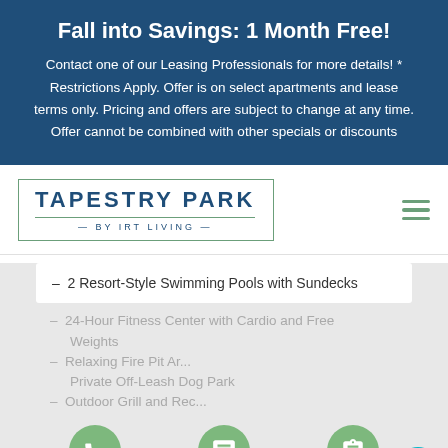Fall into Savings: 1 Month Free!
Contact one of our Leasing Professionals for more details! * Restrictions Apply. Offer is on select apartments and lease terms only. Pricing and offers are subject to change at any time. Offer cannot be combined with other specials or discounts
[Figure (logo): Tapestry Park by IRT Living logo in a green-bordered rectangle, with hamburger menu icon on the right]
2 Resort-Style Swimming Pools with Sundecks
24-Hour Fitness Center with Cardio and Free Weights
Relaxing Fire Pit Ar...
Private Off-Leash Dog Park
Outdoor Grill and Rec...
[Figure (infographic): Three green circular icons (phone, chat bubble, clipboard) and a teal accessibility icon (person with circle) on gray background]